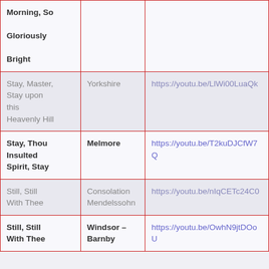| Morning, So Gloriously Bright |  |  |
| Stay, Master, Stay upon this Heavenly Hill | Yorkshire | https://youtu.be/LlWi00LuaQk |
| Stay, Thou Insulted Spirit, Stay | Melmore | https://youtu.be/T2kuDJCfW7Q |
| Still, Still With Thee | Consolation Mendelssohn | https://youtu.be/nIqCETc24C0 |
| Still, Still With Thee | Windsor – Barnby | https://youtu.be/OwhN9jtDOoU |